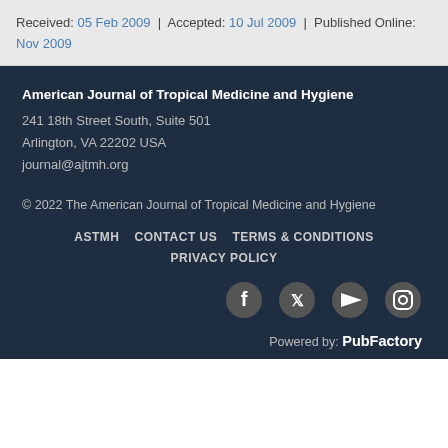Received: 05 Feb 2009 | Accepted: 10 Jul 2009 | Published Online: Nov 2009
American Journal of Tropical Medicine and Hygiene
241 18th Street South, Suite 501
Arlington, VA 22202 USA
journal@ajtmh.org
© 2022 The American Journal of Tropical Medicine and Hygiene
ASTMH   CONTACT US   TERMS & CONDITIONS
PRIVACY POLICY
[Figure (other): Social media icons: Facebook, Twitter, YouTube, Instagram]
Powered by: PubFactory